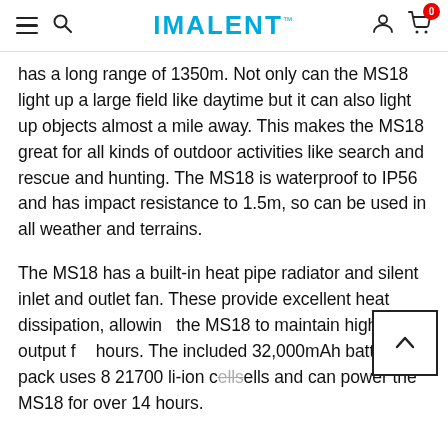IMALENT™
has a long range of 1350m. Not only can the MS18 light up a large field like daytime but it can also light up objects almost a mile away. This makes the MS18 great for all kinds of outdoor activities like search and rescue and hunting. The MS18 is waterproof to IP56 and has impact resistance to 1.5m, so can be used in all weather and terrains.
The MS18 has a built-in heat pipe radiator and silent inlet and outlet fan. These provide excellent heat dissipation, allowing the MS18 to maintain high lumen output for hours. The included 32,000mAh battery pack uses 8 21700 li-ion cells and can power the MS18 for over 14 hours.